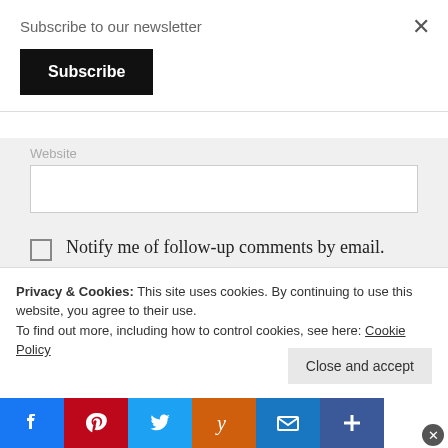Subscribe to our newsletter
Subscribe
Website
Notify me of follow-up comments by email.
Notify me of new posts by email.
Privacy & Cookies: This site uses cookies. By continuing to use this website, you agree to their use. To find out more, including how to control cookies, see here: Cookie Policy
Close and accept